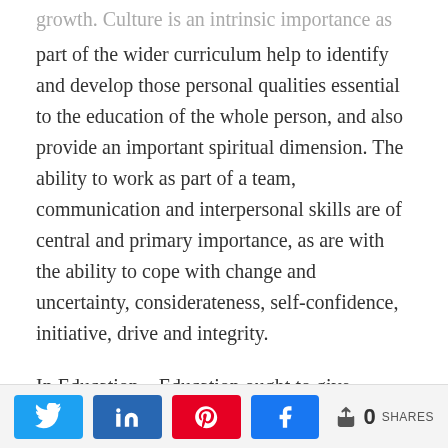growth. Culture is an intrinsic importance as part of the wider curriculum help to identify and develop those personal qualities essential to the education of the whole person, and also provide an important spiritual dimension. The ability to work as part of a team, communication and interpersonal skills are of central and primary importance, as are with the ability to cope with change and uncertainty, considerateness, self-confidence, initiative, drive and integrity.
In Education – Education ought to give youngsters the fitting learning, aptitudes and
Share buttons: Twitter, LinkedIn, Pinterest, Facebook | 0 SHARES